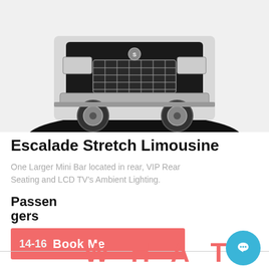[Figure (photo): Black and white photo of front of an Escalade Stretch Limousine SUV, showing front grille, headlights and wheel]
Escalade Stretch Limousine
One Larger Mini Bar located in rear, VIP Rear Seating and LCD TV's Ambient Lighting.
Passengers
14-16  Book Me
TOP
WHAT